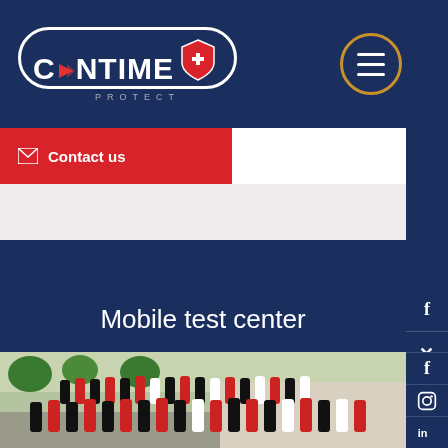[Figure (logo): Contime Protect logo — white bold text CONTIME with red shield icon containing a white plus, all inside a rounded rectangle border on dark navy background. Hamburger menu button in gold circle on right.]
Contact us
Mobile test center
Medically trained staff
[Figure (photo): Group photo of Contime Protect staff, approximately 40 people, wearing black and red branded t-shirts, standing outside on a plaza with trees and parked cars in background.]